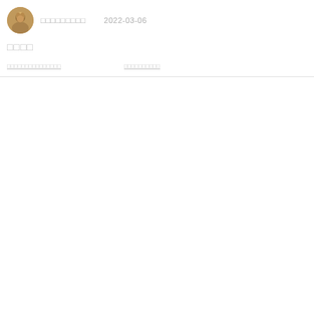[Figure (photo): Circular avatar photo of a person]
□□□□□□□□□
2022-03-06
□□□□
link item 1
link item 2